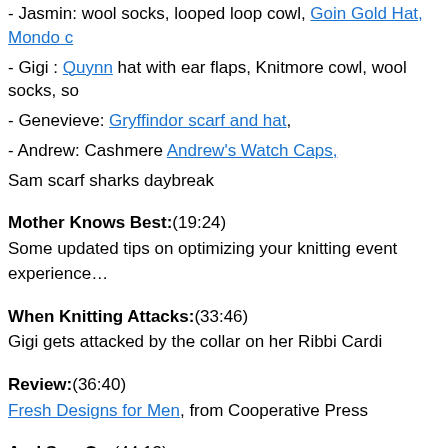- Jasmin: wool socks, looped loop cowl, Goin Gold Hat, Mondo …
- Gigi : Quynn hat with ear flaps, Knitmore cowl, wool socks, so…
- Genevieve: Gryffindor scarf and hat,
- Andrew: Cashmere Andrew's Watch Caps,
Sam scarf sharks daybreak
Mother Knows Best:(19:24)
Some updated tips on optimizing your knitting event experience…
When Knitting Attacks:(33:46)
Gigi gets attacked by the collar on her Ribbi Cardi
Review:(36:40)
Fresh Designs for Men, from Cooperative Press
And Sew On:(44:13)
Gigi is trying to sew or do something sewing related every day.
Gigi finished sewing in the ribbon for Genevieve's Victorian Girl's…
Scheduled sewing di…